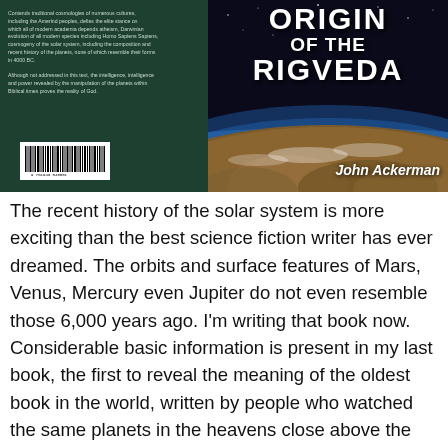[Figure (photo): Book cover image showing front and back covers of 'Cosmic Origin of the Rigveda' by John Ackerman. The front cover features a space/Earth image with bold white text. The back cover shows descriptive text and a barcode on a dark green background.]
The recent history of the solar system is more exciting than the best science fiction writer has ever dreamed. The orbits and surface features of Mars, Venus, Mercury even Jupiter do not even resemble those 6,000 years ago. I'm writing that book now. Considerable basic information is present in my last book, the first to reveal the meaning of the oldest book in the world, written by people who watched the same planets in the heavens close above the Earth and praised them as gods, "The Cosmic Origin of the Rig Veda"  The title is a little scary but there is no